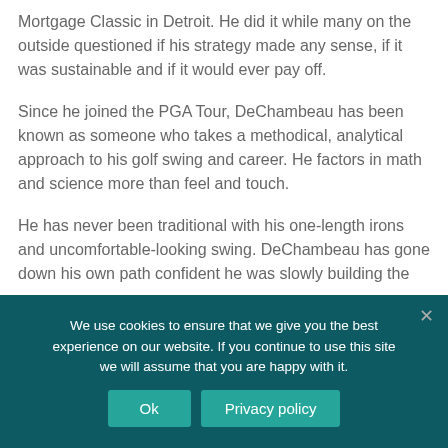Mortgage Classic in Detroit. He did it while many on the outside questioned if his strategy made any sense, if it was sustainable and if it would ever pay off.
Since he joined the PGA Tour, DeChambeau has been known as someone who takes a methodical, analytical approach to his golf swing and career. He factors in math and science more than feel and touch.
He has never been traditional with his one-length irons and uncomfortable-looking swing. DeChambeau has gone down his own path confident he was slowly building the
We use cookies to ensure that we give you the best experience on our website. If you continue to use this site we will assume that you are happy with it.